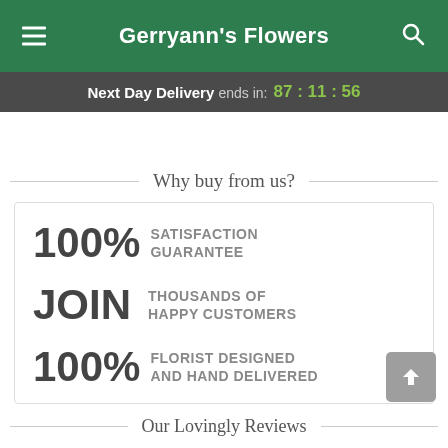Gerryann's Flowers
Next Day Delivery ends in: 87 : 11 : 56
Why buy from us?
100% SATISFACTION GUARANTEE
JOIN THOUSANDS OF HAPPY CUSTOMERS
100% FLORIST DESIGNED AND HAND DELIVERED
Our Lovingly Reviews